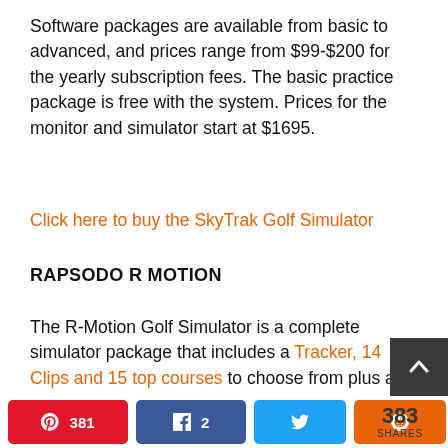Software packages are available from basic to advanced, and prices range from $99-$200 for the yearly subscription fees. The basic practice package is free with the system. Prices for the monitor and simulator start at $1695.
Click here to buy the SkyTrak Golf Simulator
RAPSODO R MOTION
The R-Motion Golf Simulator is a complete simulator package that includes a Tracker, 14 Clips and 15 top courses to choose from plus a Driving Range mode.
It's highly reviewed and rated thanks to
381 Pinterest  2 Facebook  Twitter  Reddit  383 SHARES